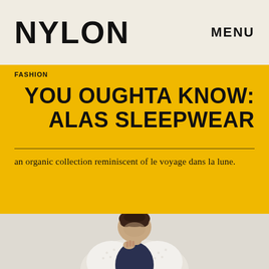NYLON    MENU
FASHION
YOU OUGHTA KNOW: ALAS SLEEPWEAR
an organic collection reminiscent of le voyage dans la lune.
[Figure (photo): Woman with braided updo hair, wearing a navy and white lace garment, looking downward with hand near chin, against a light background.]